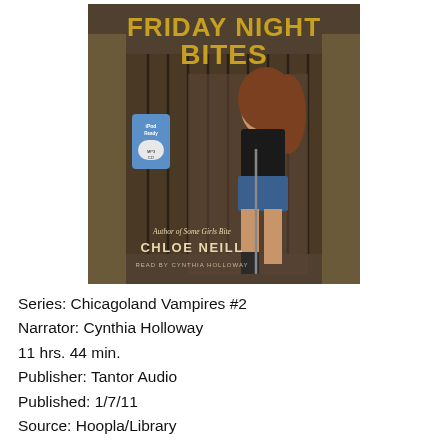[Figure (illustration): Book cover for 'Friday Night Bites' by Chloe Neill (Chicagoland Vampires #2 audiobook). Features a young woman in a black corset top and denim shorts, holding a katana sword, standing in front of ornate iron gates. Title 'FRIDAY NIGHT BITES' in gold text at top. Text below: 'Author of Some Girls Bite', 'CHLOE NEILL', 'READ BY CYNTHIA HOLLOWAY'. An iPod Ready MP3 CD badge is visible on the left side.]
Series: Chicagoland Vampires #2
Narrator: Cynthia Holloway
11 hrs. 44 min.
Publisher: Tantor Audio
Published: 1/7/11
Source: Hoopla/Library